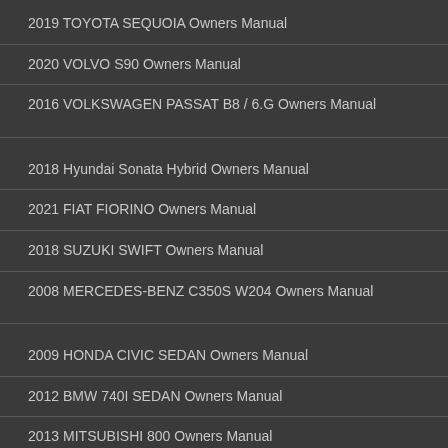2019 TOYOTA SEQUOIA Owners Manual
2020 VOLVO S90 Owners Manual
2016 VOLKSWAGEN PASSAT B8 / 6.G Owners Manual
2018 Hyundai Sonata Hybrid Owners Manual
2021 FIAT FIORINO Owners Manual
2018 SUZUKI SWIFT Owners Manual
2008 MERCEDES-BENZ C350S W204 Owners Manual
2009 HONDA CIVIC SEDAN Owners Manual
2012 BMW 740I SEDAN Owners Manual
2013 MITSUBISHI 800 Owners Manual